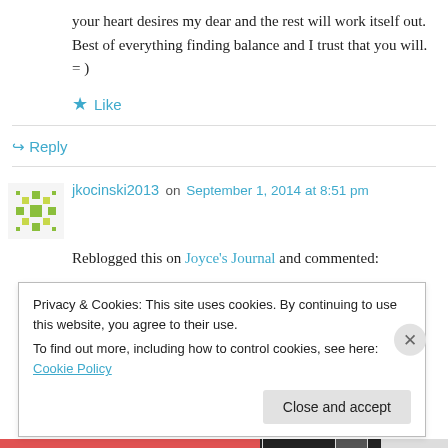your heart desires my dear and the rest will work itself out. Best of everything finding balance and I trust that you will. = )
★ Like
↪ Reply
jkocinski2013 on September 1, 2014 at 8:51 pm
Reblogged this on Joyce's Journal and commented:
Privacy & Cookies: This site uses cookies. By continuing to use this website, you agree to their use.
To find out more, including how to control cookies, see here: Cookie Policy
Close and accept